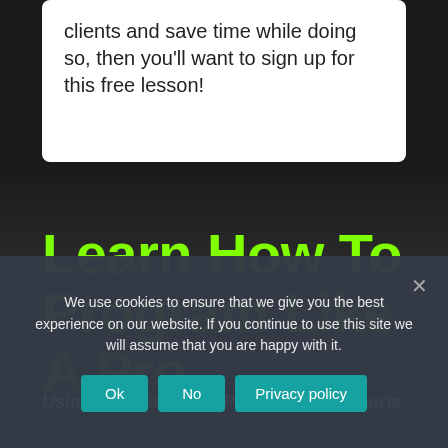clients and save time while doing so, then you'll want to sign up for this free lesson!
Learn How To Program Like A Pro
Using My Must-Have Programming Charts
We use cookies to ensure that we give you the best experience on our website. If you continue to use this site we will assume that you are happy with it.